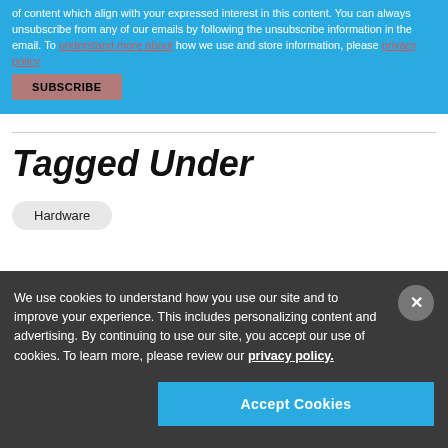of content which align with your expressed interest in this content. You can always unsubscribe from any of our emails by following the unsubscribe information in the email. To understand more about how we use and store information, please privacy policy
SUBSCRIBE
Tagged Under
Hardware
We use cookies to understand how you use our site and to improve your experience. This includes personalizing content and advertising. By continuing to use our site, you accept our use of cookies. To learn more, please review our privacy policy.
Accept Cookies